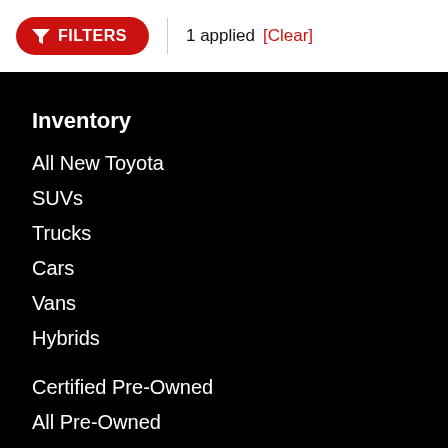[Figure (screenshot): Red FILTERS button with funnel icon, followed by '1 applied [Clear]' text on white header bar]
Inventory
All New Toyota
SUVs
Trucks
Cars
Vans
Hybrids
Certified Pre-Owned
All Pre-Owned
Shopping Tools
Get Approved
Value Your Trade